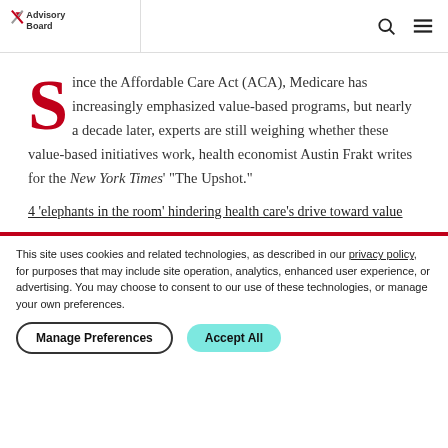Advisory Board
Since the Affordable Care Act (ACA), Medicare has increasingly emphasized value-based programs, but nearly a decade later, experts are still weighing whether these value-based initiatives work, health economist Austin Frakt writes for the New York Times' "The Upshot."
4 'elephants in the room' hindering health care's drive toward value
This site uses cookies and related technologies, as described in our privacy policy, for purposes that may include site operation, analytics, enhanced user experience, or advertising. You may choose to consent to our use of these technologies, or manage your own preferences.
Manage Preferences  Accept All